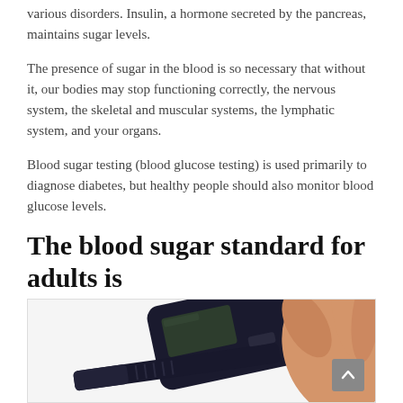various disorders. Insulin, a hormone secreted by the pancreas, maintains sugar levels.
The presence of sugar in the blood is so necessary that without it, our bodies may stop functioning correctly, the nervous system, the skeletal and muscular systems, the lymphatic system, and your organs.
Blood sugar testing (blood glucose testing) is used primarily to diagnose diabetes, but healthy people should also monitor blood glucose levels.
The blood sugar standard for adults is
[Figure (photo): A hand holding a blood glucose meter and lancet pen against a light background]